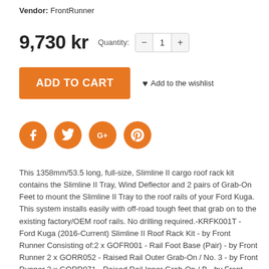Vendor: FrontRunner
9,730 kr  Quantity:  —  1  +
ADD TO CART  ♥ Add to the wishlist
[Figure (other): Social share buttons: Facebook (f), Twitter (bird), Google+ (G+), Pinterest (P) — four orange circular icon buttons]
This 1358mm/53.5 long, full-size, Slimline II cargo roof rack kit contains the Slimline II Tray, Wind Deflector and 2 pairs of Grab-On Feet to mount the Slimline II Tray to the roof rails of your Ford Kuga. This system installs easily with off-road tough feet that grab on to the existing factory/OEM roof rails. No drilling required.-KRFK001T - Ford Kuga (2016-Current) Slimline II Roof Rack Kit - by Front Runner Consisting of:2 x GOFR001 - Rail Foot Base (Pair) - by Front Runner 2 x GORR052 - Raised Rail Outer Grab-On / No. 3 - by Front Runner 2 x GORR071 - Raised Rail Inner Grab-On / B - by Front Runner 1 x RRSTA07 - Slimline II Tray - 1165mm(W) X